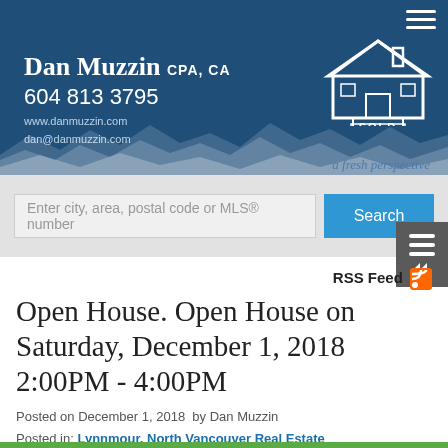Dan Muzzin CPA, CA
604 813 3795
www.danmuzzin.com
dan@danmuzzin.com
a fresh perspective
[Figure (logo): House with SOLD sign logo in white on dark blue background]
Enter city, area, postal code or MLS® number
Open House. Open House on Saturday, December 1, 2018 2:00PM - 4:00PM
Posted on December 1, 2018  by Dan Muzzin
Posted in: Lynnmour, North Vancouver Real Estate